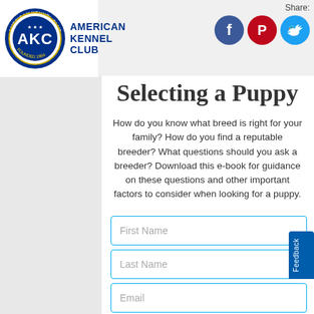[Figure (logo): American Kennel Club (AKC) circular blue logo with badge design]
American Kennel Club
Share:
[Figure (logo): Facebook social icon - blue circle with white f]
[Figure (logo): Pinterest social icon - red circle with white P]
[Figure (logo): Twitter social icon - light blue circle with white bird]
Selecting a Puppy
How do you know what breed is right for your family? How do you find a reputable breeder? What questions should you ask a breeder? Download this e-book for guidance on these questions and other important factors to consider when looking for a puppy.
First Name
Last Name
Email